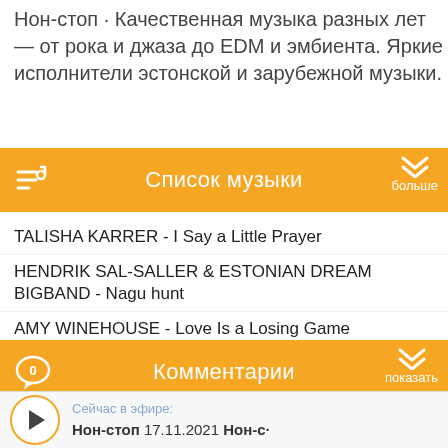Нон-стоп · Качественная музыка разных лет — от рока и джаза до EDM и эмбиента. Яркие исполнители эстонской и зарубежной музыки.
Список музыки
TALISHA KARRER - I Say a Little Prayer
HENDRIK SAL-SALLER & ESTONIAN DREAM BIGBAND - Nagu hunt
AMY WINEHOUSE - Love Is a Losing Game
Комментарии
Сейчас в эфире: Нон-стоп 17.11.2021 Нон-с·